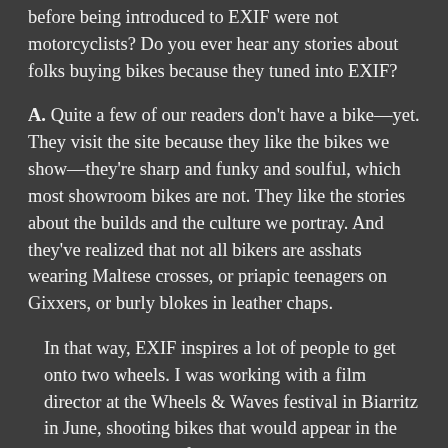before being introduced to EXIF were not motorcyclists? Do you ever hear any stories about folks buying bikes because they tuned into EXIF?
A. Quite a few of our readers don't have a bike—yet. They visit the site because they like the bikes we show—they're sharp and funky and soulful, which most showroom bikes are not. They like the stories about the builds and the culture we portray. And they've realized that not all bikers are asshats wearing Maltese crosses, or priapic teenagers on Gixxers, or burly blokes in leather chaps.
In that way, EXIF inspires a lot of people to get onto two wheels. I was working with a film director at the Wheels & Waves festival in Biarritz in June, shooting bikes that would appear in the book. By the end of the weekend he was lusting after a bike himself. He's now going to learn to ride, because he's finally discovered a style of motorcycle that flips his